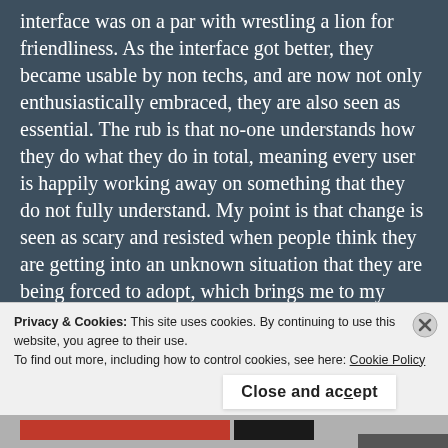interface was on a par with wrestling a lion for friendliness. As the interface got better, they became usable by non techs, and are now not only enthusiastically embraced, they are also seen as essential. The rub is that no-one understands how they do what they do in total, meaning every user is happily working away on something that they do not fully understand. My point is that change is seen as scary and resisted when people think they are getting into an unknown situation that they are being forced to adopt, which brings me to my main point
Privacy & Cookies: This site uses cookies. By continuing to use this website, you agree to their use.
To find out more, including how to control cookies, see here: Cookie Policy
Close and accept